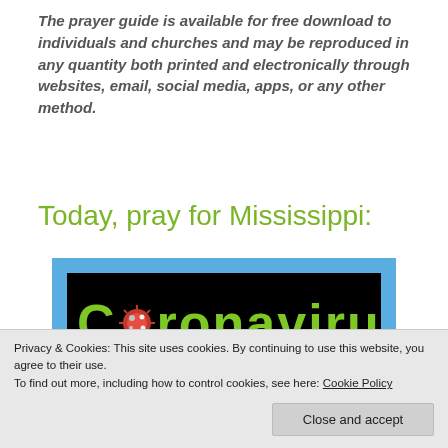The prayer guide is available for free download to individuals and churches and may be reproduced in any quantity both printed and electronically through websites, email, social media, apps, or any other method.
Today, pray for Mississippi:
[Figure (illustration): Coronavirus text banner on black background with green stylized letters and a red coronavirus particle replacing the letter 'o', set inside a blue-bordered frame.]
Privacy & Cookies: This site uses cookies. By continuing to use this website, you agree to their use.
To find out more, including how to control cookies, see here: Cookie Policy